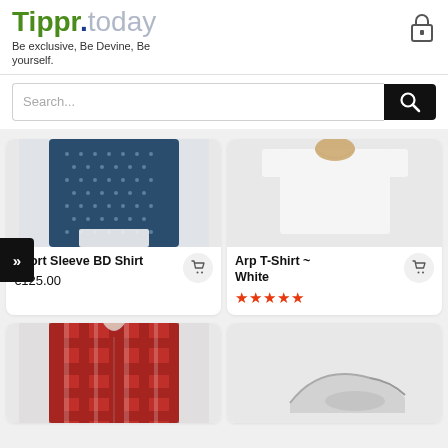[Figure (logo): Tippr.today logo with tagline and lock icon]
Be exclusive, Be Devine, Be yourself.
[Figure (screenshot): Search bar with search input field and black search button with magnifying glass icon]
[Figure (photo): Product image of Short Sleeve BD Shirt - dark blue with white dotted pattern shirt]
Short Sleeve BD Shirt
€125.00
[Figure (photo): Product image of Arp T-Shirt White - white t-shirt]
Arp T-Shirt ~ White
[Figure (photo): Product image - red plaid flannel shirt, partially visible]
[Figure (photo): Product image - partially visible, appears to be a sneaker or shoe]